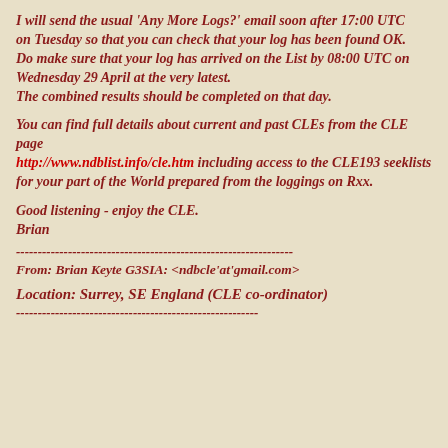I will send the usual 'Any More Logs?' email soon after 17:00 UTC
on Tuesday so that you can check that your log has been found OK.
Do make sure that your log has arrived on the List by 08:00 UTC on Wednesday 29 April at the very latest.
The combined results should be completed on that day.
You can find full details about current and past CLEs from the CLE page
http://www.ndblist.info/cle.htm including access to the CLE193 seeklists
for your part of the World prepared from the loggings on Rxx.
Good listening - enjoy the CLE.
Brian
----------------------------------------------------------------
From: Brian Keyte G3SIA: <ndbcle'at'gmail.com>
Location: Surrey, SE England (CLE co-ordinator)
--------------------------------------------------------